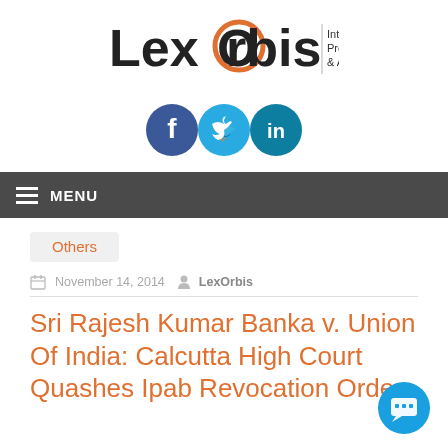[Figure (logo): LexOrbis logo with text 'Intellectual Property Attorneys & Advocates']
[Figure (infographic): Social media icons: Facebook (dark blue circle), Twitter (light blue circle), LinkedIn (teal circle)]
MENU
Others
November 14, 2014  LexOrbis
Sri Rajesh Kumar Banka v. Union Of India: Calcutta High Court Quashes Ipab Revocation Order